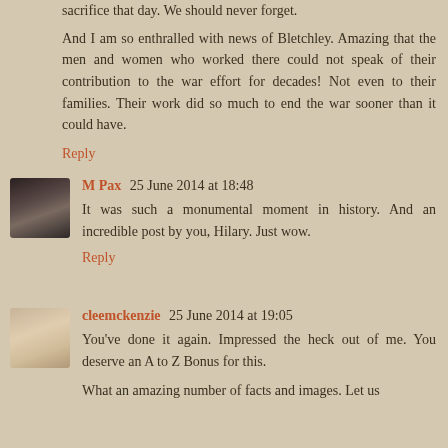sacrifice that day. We should never forget.
And I am so enthralled with news of Bletchley. Amazing that the men and women who worked there could not speak of their contribution to the war effort for decades! Not even to their families. Their work did so much to end the war sooner than it could have.
Reply
M Pax  25 June 2014 at 18:48
It was such a monumental moment in history. And an incredible post by you, Hilary. Just wow.
Reply
cleemckenzie  25 June 2014 at 19:05
You've done it again. Impressed the heck out of me. You deserve an A to Z Bonus for this.
What an amazing number of facts and images. Let us